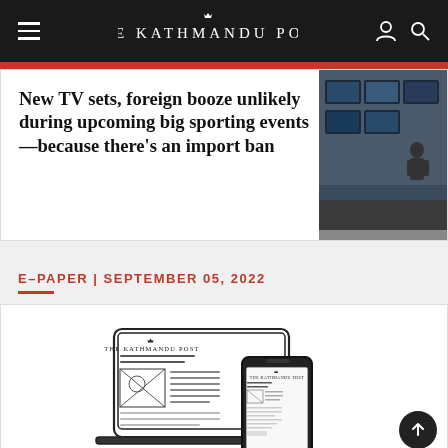THE KATHMANDU POST
New TV sets, foreign booze unlikely during upcoming big sporting events—because there's an import ban
[Figure (photo): Photo of TV sets displayed in a store, likely showing large screen televisions on a wall.]
E–PAPER | SEPTEMBER 05, 2022
[Figure (illustration): Illustration of a laptop and smartphone displaying The Kathmandu Post e-paper/newspaper.]